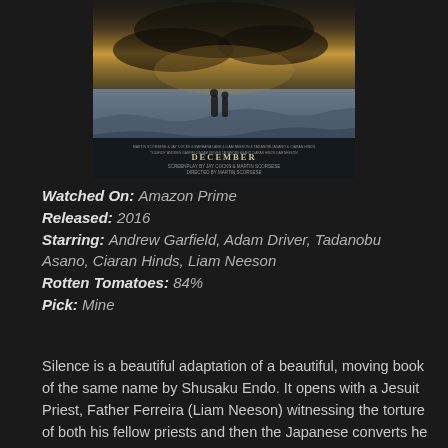[Figure (photo): Movie poster for Silence (2016), directed by Martin Scorsese. Shows two figures standing on a rocky shore with dramatic stormy sky. Bottom text reads DECEMBER, with screenplay credits by JAY COCKS & MARTIN SCORSESE, directed by MARTIN SCORSESE.]
Watched On: Amazon Prime
Released: 2016
Starring: Andrew Garfield, Adam Driver, Tadanobu Asano, Ciaran Hinds, Liam Neeson
Rotten Tomatoes: 84%
Pick: Mine
Silence is a beautiful adaptation of a beautiful, moving book of the same name by Shusaku Endo. It opens with a Jesuit Priest, Father Ferreira (Liam Neeson) witnessing the torture of both his fellow priests and then the Japanese converts he has been trying to bring Christianity too. He seems rooted to the